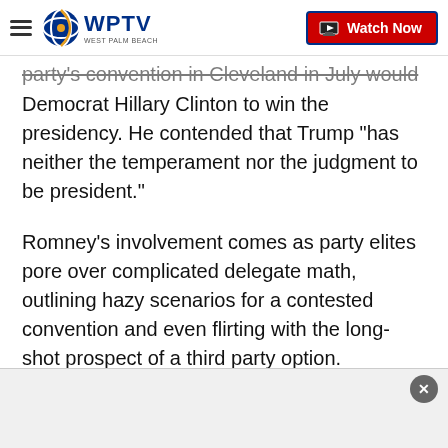WPTV West Palm Beach — Watch Now
party's convention in Cleveland in July would cause Democrat Hillary Clinton to win the presidency. He contended that Trump "has neither the temperament nor the judgment to be president."
Romney's involvement comes as party elites pore over complicated delegate math, outlining hazy scenarios for a contested convention and even flirting with the long-shot prospect of a third party option.
Giving Romney the back of his hand, Trump turned his sights on the general election. His campaign reached out to House Speaker Paul Ryan's office to arrange a